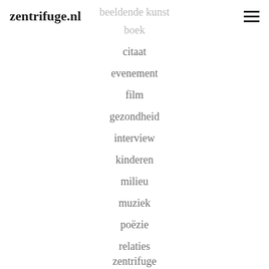zentrifuge.nl
beeldende kunst
boek
citaat
evenement
film
gezondheid
interview
kinderen
milieu
muziek
poëzie
relaties
zentrifuge